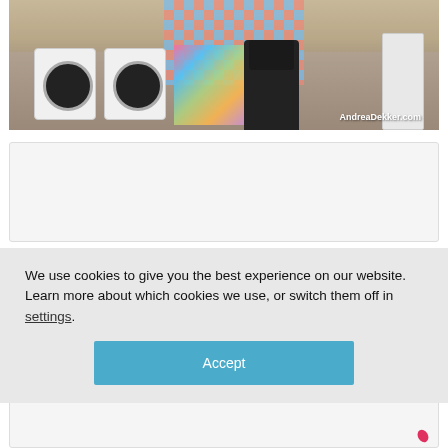[Figure (photo): Photo of a laundry room / basement space showing two white front-load washers/dryers, a colorful fabric or clothing rack in the center, a black salon-style chair, and a white refrigerator on the right. The watermark 'AndreaDekker.com' appears in white text at the bottom right of the image.]
We use cookies to give you the best experience on our website.
Learn more about which cookies we use, or switch them off in settings.
Accept